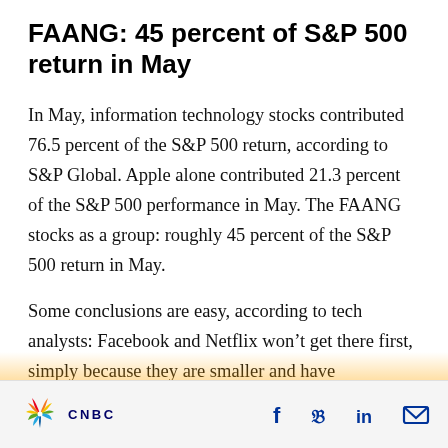FAANG: 45 percent of S&P 500 return in May
In May, information technology stocks contributed 76.5 percent of the S&P 500 return, according to S&P Global. Apple alone contributed 21.3 percent of the S&P 500 performance in May. The FAANG stocks as a group: roughly 45 percent of the S&P 500 return in May.
Some conclusions are easy, according to tech analysts: Facebook and Netflix won’t get there first, simply because they are smaller and have…
CNBC | Facebook | Twitter | LinkedIn | Email